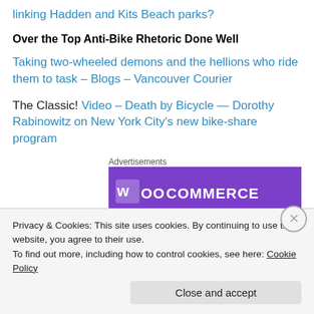linking Hadden and Kits Beach parks?
Over the Top Anti-Bike Rhetoric Done Well
Taking two-wheeled demons and the hellions who ride them to task – Blogs – Vancouver Courier
The Classic! Video – Death by Bicycle — Dorothy Rabinowitz on New York City's new bike-share program
[Figure (screenshot): WooCommerce advertisement banner with purple background and white logo text]
Privacy & Cookies: This site uses cookies. By continuing to use this website, you agree to their use. To find out more, including how to control cookies, see here: Cookie Policy